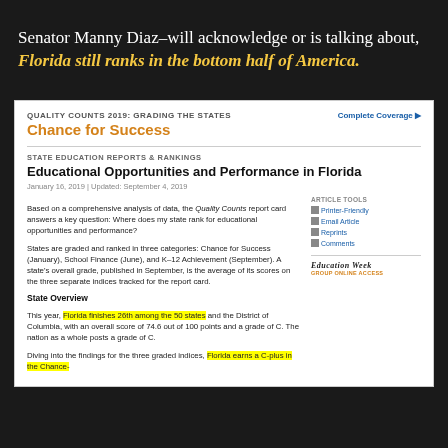Senator Manny Diaz–will acknowledge or is talking about, Florida still ranks in the bottom half of America.
[Figure (screenshot): Screenshot of Education Week article: Quality Counts 2019: Grading the States – Chance for Success. Article titled 'Educational Opportunities and Performance in Florida', dated January 16, 2019, Updated September 4, 2019. Contains article text about Florida finishing 26th among 50 states with a score of 74.6 out of 100 and a grade of C. Sidebar contains article tools and Education Week Group Online Access logo.]
State Overview
This year, Florida finishes 26th among the 50 states and the District of Columbia, with an overall score of 74.6 out of 100 points and a grade of C. The nation as a whole posts a grade of C.
Diving into the findings for the three graded indices, Florida earns a C-plus in the Chance-